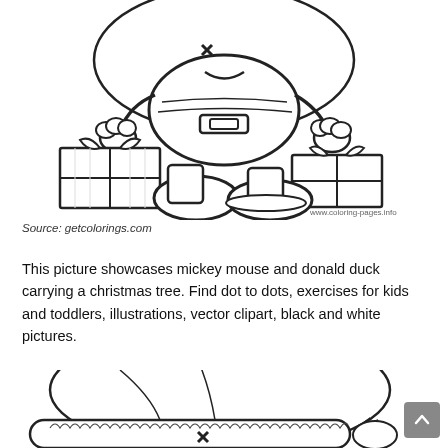[Figure (illustration): Black and white coloring page illustration of Mickey Mouse and Donald Duck carrying Christmas gifts. Characters are shown from waist down area with wrapped presents on either side, wearing shoes/boots. URL watermark 'www.coloring-pages.info' visible in bottom right of image.]
Source: getcolorings.com
This picture showcases mickey mouse and donald duck carrying a christmas tree. Find dot to dots, exercises for kids and toddlers, illustrations, vector clipart, black and white pictures.
[Figure (illustration): Bottom portion of another black and white coloring page illustration showing a character wearing a Santa hat, partially cropped.]